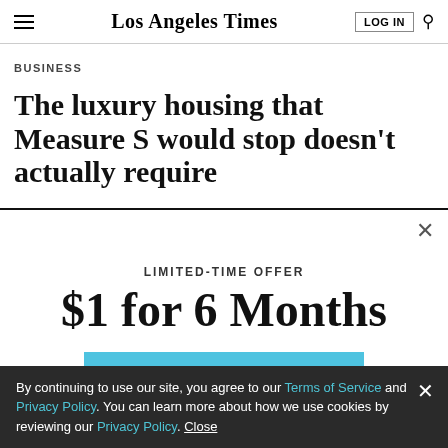Los Angeles Times
BUSINESS
The luxury housing that Measure S would stop doesn't actually require
LIMITED-TIME OFFER
$1 for 6 Months
SUBSCRIBE NOW
By continuing to use our site, you agree to our Terms of Service and Privacy Policy. You can learn more about how we use cookies by reviewing our Privacy Policy. Close